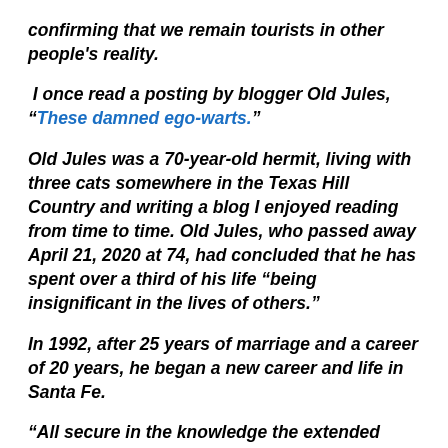confirming that we remain tourists in other people's reality.
I once read a posting by blogger Old Jules, “These damned ego-warts.”
Old Jules was a 70-year-old hermit, living with three cats somewhere in the Texas Hill Country and writing a blog I enjoyed reading from time to time. Old Jules, who passed away April 21, 2020 at 74, had concluded that he has spent over a third of his life “being insignificant in the lives of others.”
In 1992, after 25 years of marriage and a career of 20 years, he began a new career and life in Santa Fe.
“All secure in the knowledge the extended family and friends remaining behind were part of my life in which